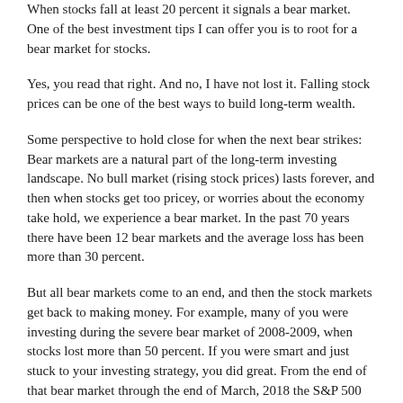When stocks fall at least 20 percent it signals a bear market. One of the best investment tips I can offer you is to root for a bear market for stocks.
Yes, you read that right. And no, I have not lost it. Falling stock prices can be one of the best ways to build long-term wealth.
Some perspective to hold close for when the next bear strikes: Bear markets are a natural part of the long-term investing landscape. No bull market (rising stock prices) lasts forever, and then when stocks get too pricey, or worries about the economy take hold, we experience a bear market. In the past 70 years there have been 12 bear markets and the average loss has been more than 30 percent.
But all bear markets come to an end, and then the stock markets get back to making money. For example, many of you were investing during the severe bear market of 2008-2009, when stocks lost more than 50 percent. If you were smart and just stuck to your investing strategy, you did great. From the end of that bear market through the end of March, 2018 the S&P 500 stock index had gained more than 330 percent. And that's been the pattern throughout history. After bear market loses, stocks rebound and move on to great gains.
I get that living through a bear market can feel stressful, but I